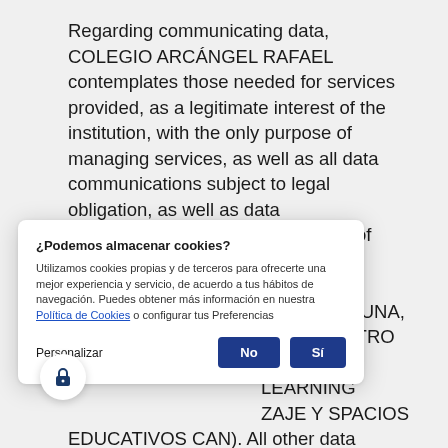Regarding communicating data, COLEGIO ARCÁNGEL RAFAEL contemplates those needed for services provided, as a legitimate interest of the institution, with the only purpose of managing services, as well as all data communications subject to legal obligation, as well as data communications among the Group of ...ected by law and ...o additional ...EDA DE OSUNA, ...FAEL, CENTRO ...CIOS ...LEARNING ...ZAJE Y SPACIOS EDUCATIVOS CAN). All other data management, in case of future data transmission outside of what has already been established, requires previous and unequivocal consent, except in the
¿Podemos almacenar cookies?
Utilizamos cookies propias y de terceros para ofrecerte una mejor experiencia y servicio, de acuerdo a tus hábitos de navegación. Puedes obtener más información en nuestra Política de Cookies o configurar tus Preferencias
Personalizar | No | Sí